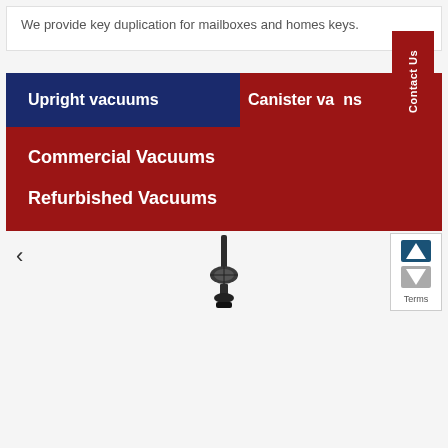We provide key duplication for mailboxes and homes keys.
Upright vacuums
Canister vacuums
Commercial Vacuums
Refurbished Vacuums
Contact Us
[Figure (photo): A vacuum cleaner product photo shown in a carousel slider with left and right navigation arrows]
Terms